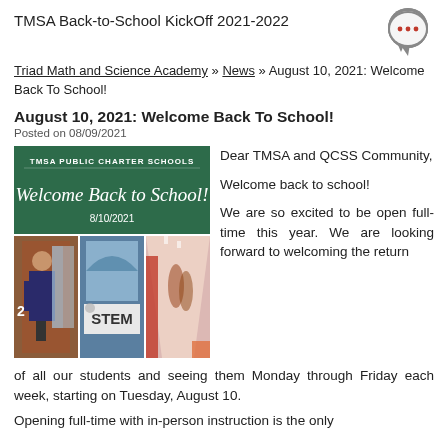TMSA Back-to-School KickOff 2021-2022
Triad Math and Science Academy » News » August 10, 2021: Welcome Back To School!
August 10, 2021: Welcome Back To School!
Posted on 08/09/2021
[Figure (photo): TMSA Public Charter Schools Welcome Back to School banner with date 8/10/2021, and three school photos below showing students at school entrance, STEM sign, and hallway]
Dear TMSA and QCSS Community,

Welcome back to school!

We are so excited to be open full-time this year. We are looking forward to welcoming the return of all our students and seeing them Monday through Friday each week, starting on Tuesday, August 10.
Opening full-time with in-person instruction is the only